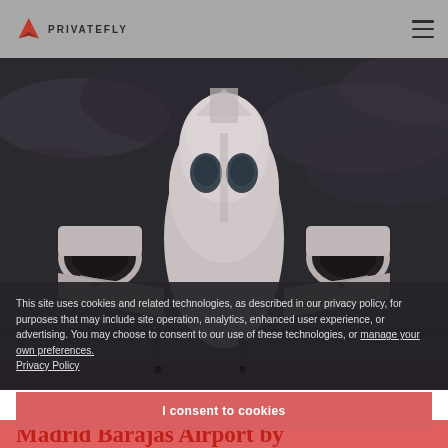PRIVATEFLY
[Figure (photo): Front view of a private jet aircraft with engines visible on either side, photographed against a dramatic dark cloudy sky. The aircraft nose and cockpit windows are prominently shown.]
This site uses cookies and related technologies, as described in our privacy policy, for purposes that may include site operation, analytics, enhanced user experience, or advertising. You may choose to consent to our use of these technologies, or manage your own preferences.
Privacy Policy
I consent to cookies
Madrid Barajas Airport by